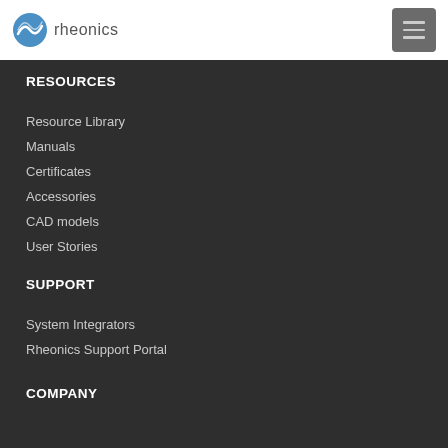rheonics
RESOURCES
Resource Library
Manuals
Certificates
Accessories
CAD models
User Stories
SUPPORT
System Integrators
Rheonics Support Portal
COMPANY